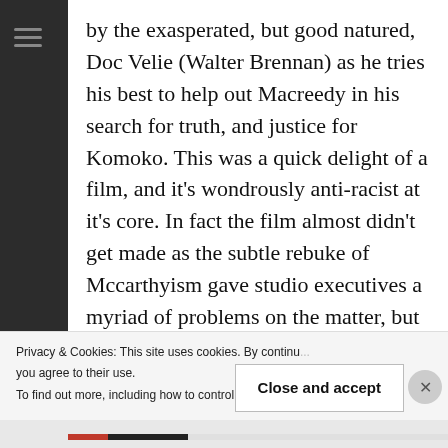by the exasperated, but good natured, Doc Velie (Walter Brennan) as he tries his best to help out Macreedy in his search for truth, and justice for Komoko. This was a quick delight of a film, and it's wondrously anti-racist at it's core. In fact the film almost didn't get made as the subtle rebuke of Mccarthyism gave studio executives a myriad of problems on the matter, but it eventually got made in spite of this pushback. During my watch I was charmed by the old school mentality of an able-bodied actor with two working limbs trying to fake a lame one throughout the film production. They
Privacy & Cookies: This site uses cookies. By continu... you agree to their use.
To find out more, including how to control cookies, s...
Close and accept